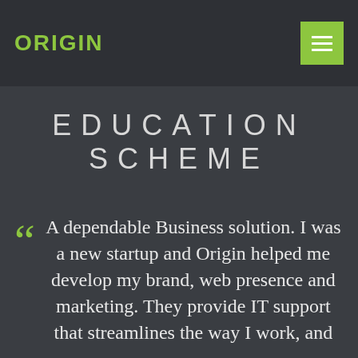ORIGIN
EDUCATION SCHEME
A dependable Business solution. I was a new startup and Origin helped me develop my brand, web presence and marketing. They provide IT support that streamlines the way I work, and